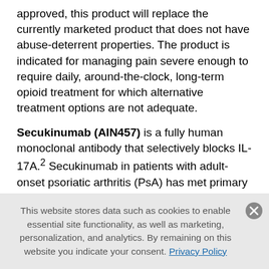approved, this product will replace the currently marketed product that does not have abuse-deterrent properties. The product is indicated for managing pain severe enough to require daily, around-the-clock, long-term opioid treatment for which alternative treatment options are not adequate.
Secukinumab (AIN457) is a fully human monoclonal antibody that selectively blocks IL-17A.2 Secukinumab in patients with adult-onset psoriatic arthritis (PsA) has met primary and major secondary endpoints in two pivotal Phase 3 clinical trials (FUTURE 1 and FUTURE 2), showing superiority to placebo in over 1,000 patients. Endpoints included improving PsA
This website stores data such as cookies to enable essential site functionality, as well as marketing, personalization, and analytics. By remaining on this website you indicate your consent. Privacy Policy